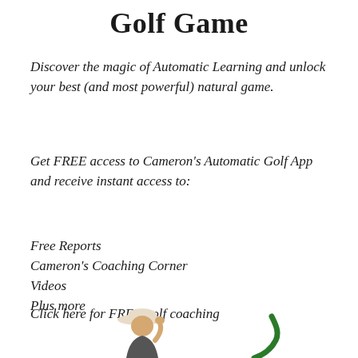Golf Game
Discover the magic of Automatic Learning and unlock your best (and most powerful) natural game.
Get FREE access to Cameron's Automatic Golf App and receive instant access to:
Free Reports
Cameron's Coaching Corner
Videos
Plus more
Click here for FREE golf coaching
[Figure (illustration): Bottom portion of page showing a partial illustration of a golfer (person wearing a cap, pumping fist) on the left and a large green cursive checkmark/swoosh on the right.]